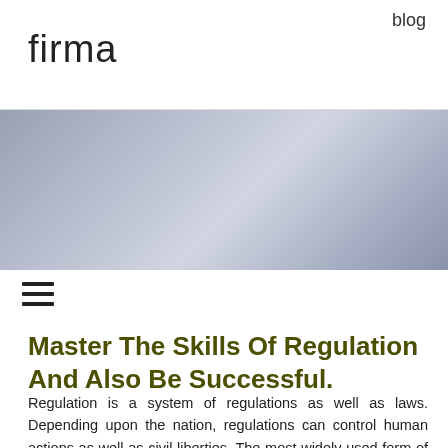firma   blog
[Figure (photo): Gray-blue gradient hero banner image]
Master The Skills Of Regulation And Also Be Successful.
Regulation is a system of regulations as well as laws. Depending upon the nation, regulations can control human actions as well as civil liberties. The most widely used form of legislation is the Constitution. Nevertheless, there are also other types of regulation, consisting of